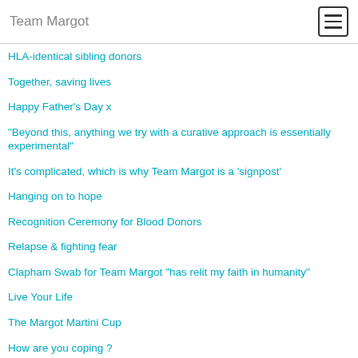Team Margot
HLA-identical sibling donors
Together, saving lives
Happy Father's Day x
“Beyond this, anything we try with a curative approach is essentially experimental”
It's complicated, which is why Team Margot is a ‘signpost’
Hanging on to hope
Recognition Ceremony for Blood Donors
Relapse & fighting fear
Clapham Swab for Team Margot “has relit my faith in humanity”
Live Your Life
The Margot Martini Cup
How are you coping ?
Give a click on World Blood Cancer Day 2015